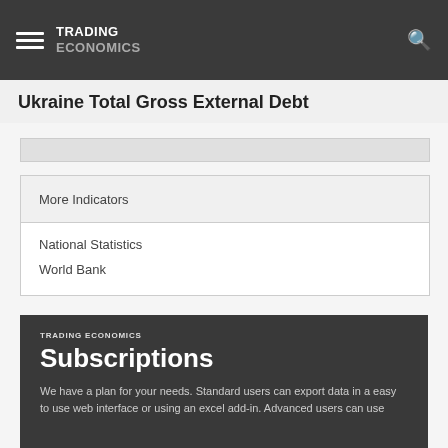TRADING ECONOMICS
Ukraine Total Gross External Debt
More Indicators
National Statistics
World Bank
TRADING ECONOMICS Subscriptions
We have a plan for your needs. Standard users can export data in a easy to use web interface or using an excel add-in. Advanced users can use